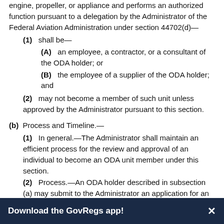engine, propeller, or appliance and performs an authorized function pursuant to a delegation by the Administrator of the Federal Aviation Administration under section 44702(d)—
(1) shall be—
(A) an employee, a contractor, or a consultant of the ODA holder; or
(B) the employee of a supplier of the ODA holder; and
(2) may not become a member of such unit unless approved by the Administrator pursuant to this section.
(b) Process and Timeline.—
(1) In general.—The Administrator shall maintain an efficient process for the review and approval of an individual to become an ODA unit member under this section.
(2) Process.—An ODA holder described in subsection (a) may submit to the Administrator an application for an individual to be approved to become an ODA unit member under this section. The application shall be submitted in such form and manner as the Administrator determines appropriate. The
Download the GovRegs app!